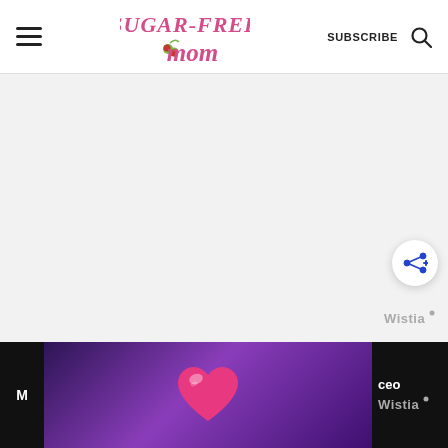[Figure (logo): Sugar-Free Mom blog header with hamburger menu, logo, SUBSCRIBE button, and search icon]
[Figure (screenshot): Large light gray content area (article/video placeholder) with a white circular share button (blue share icon) in the lower right, and a Wistia logo watermark in the bottom right corner]
[Figure (screenshot): Bottom bar: dark left strip with partial 'M' and 'R' text, center purple gradient panel with pink heart icon, dark right strip with 'ceo' text and Wistia logo]